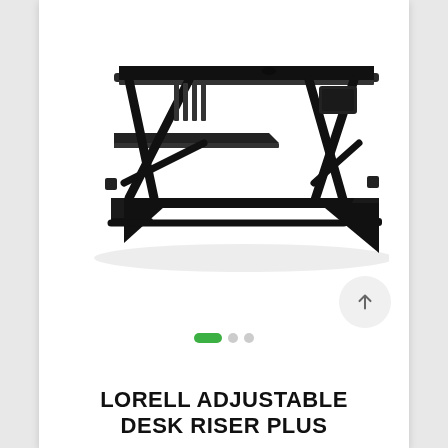[Figure (photo): A black Lorell adjustable desk riser plus product shown in a raised position with two-tier surface — upper wide work surface and lower keyboard tray — supported by an X-shaped scissor frame.]
LORELL ADJUSTABLE DESK RISER PLUS